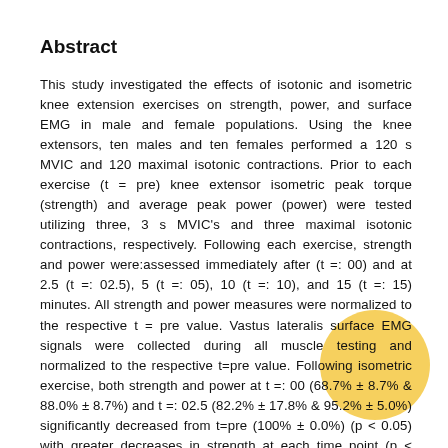Abstract
This study investigated the effects of isotonic and isometric knee extension exercises on strength, power, and surface EMG in male and female populations. Using the knee extensors, ten males and ten females performed a 120 s MVIC and 120 maximal isotonic contractions. Prior to each exercise (t = pre) knee extensor isometric peak torque (strength) and average peak power (power) were tested utilizing three, 3 s MVIC's and three maximal isotonic contractions, respectively. Following each exercise, strength and power were:assessed immediately after (t =: 00) and at 2.5 (t =: 02.5), 5 (t =: 05), 10 (t =: 10), and 15 (t =: 15) minutes. All strength and power measures were normalized to the respective t = pre value. Vastus lateralis surface EMG signals were collected during all muscle testing and normalized to the respective t=pre value. Following isometric exercise, both strength and power at t =: 00 (68.7% ± 8.7% & 88.0% ± 8.7%) and t =: 02.5 (82.2% ± 17.8% & 95.2% ± 5.0%) significantly decreased from t=pre (100% ± 0.0%) (p < 0.05) with greater decreases in strength at each time point (p < 0.05). EMG analysis revealed a significant EMG amplitude decrease (p <